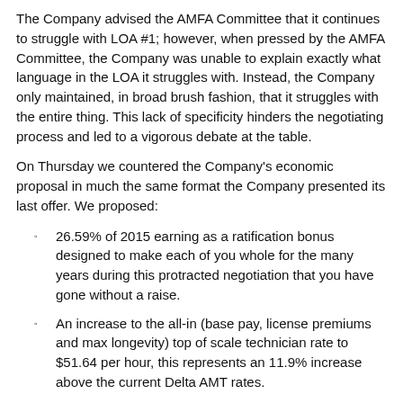The Company advised the AMFA Committee that it continues to struggle with LOA #1; however, when pressed by the AMFA Committee, the Company was unable to explain exactly what language in the LOA it struggles with. Instead, the Company only maintained, in broad brush fashion, that it struggles with the entire thing. This lack of specificity hinders the negotiating process and led to a vigorous debate at the table.
On Thursday we countered the Company’s economic proposal in much the same format the Company presented its last offer. We proposed:
26.59% of 2015 earning as a ratification bonus designed to make each of you whole for the many years during this protracted negotiation that you have gone without a raise.
An increase to the all-in (base pay, license premiums and max longevity) top of scale technician rate to $51.64 per hour, this represents an 11.9% increase above the current Delta AMT rates.
Five percent (5%) increases to the pay scale in each out-year of the contract following the DOR.
After the AMFA Committee passed its economic counter, the session concluded. Please remember that we are in mediation and are proceeding with a mediator who establishes the rules of our sessions. As always, do not hesitate to contact your Negotiating Committee representatives if you have any questions.